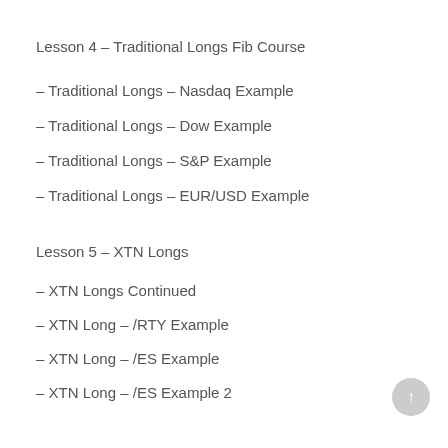Lesson 4 – Traditional Longs Fib Course
– Traditional Longs – Nasdaq Example
– Traditional Longs – Dow Example
– Traditional Longs – S&P Example
– Traditional Longs – EUR/USD Example
Lesson 5 – XTN Longs
– XTN Longs Continued
– XTN Long – /RTY Example
– XTN Long – /ES Example
– XTN Long – /ES Example 2
– XTN Long – GBP/JPY Example
– XTN Long – USD/CAD Example
Lesson 6 – SANH (Same Anchor New High)
– SANH – /ES Example
– SANH – /YM Example